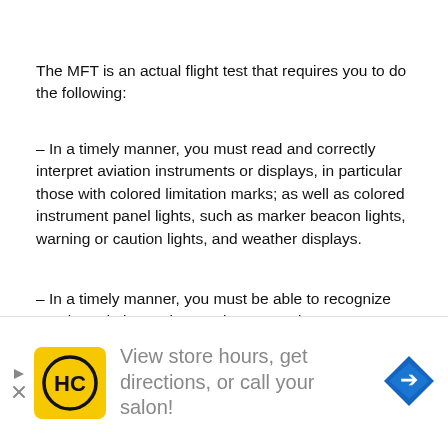The MFT is an actual flight test that requires you to do the following:
– In a timely manner, you must read and correctly interpret aviation instruments or displays, in particular those with colored limitation marks; as well as colored instrument panel lights, such as marker beacon lights, warning or caution lights, and weather displays.
– In a timely manner, you must be able to recognize terrain and obstructions; select several emergency landing areas, preferably under marginal conditions, and be able to be in detail the surface, such as what it is composed
[Figure (infographic): Advertisement banner: HC (Hobby Coterie) logo in yellow square, text 'View store hours, get directions, or call your salon!', blue navigation arrow icon on the right]